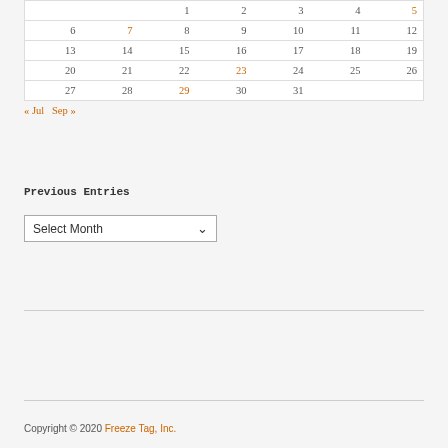|  |  |  |  |  |  |  |
| --- | --- | --- | --- | --- | --- | --- |
|  |  | 1 | 2 | 3 | 4 | 5 |
| 6 | 7 | 8 | 9 | 10 | 11 | 12 |
| 13 | 14 | 15 | 16 | 17 | 18 | 19 |
| 20 | 21 | 22 | 23 | 24 | 25 | 26 |
| 27 | 28 | 29 | 30 | 31 |  |  |
« Jul    Sep »
Previous Entries
Select Month
Copyright © 2020 Freeze Tag, Inc.